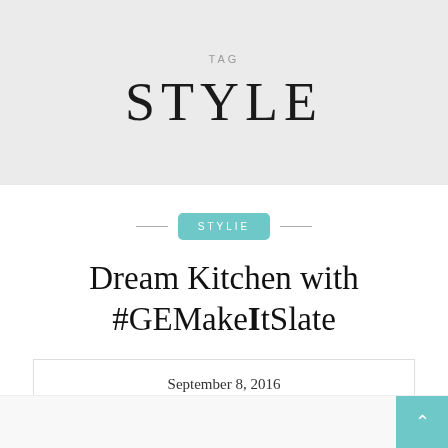TAG
STYLE
STYLIE
Dream Kitchen with #GEMakeItSlate
September 8, 2016
by melanie